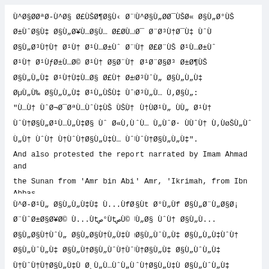Ù^Ø§ØØªØ-Ù^Ø§ Ø£ÙŠØ¶Ø§Ù‹ Ø¨Ù^Ø§§Ù‡ Ø§Ù„Ø¥Ù...Ø§Ù Ø£Ø­Ù^Ø§Ù„ Ù...Ø³Ù Ø§Ù„Ø­ÙØ±ÙˆØ¥ Ø¨Ù† ÙˆÙÙ Ø§Ù„Ù„Ù‡ Ø¨Ù…Ù‚Ù†Ù Ø©. And also protested the report narrated by Imam Ahmad and the Sunan from 'Amr bin Abi' Amr, 'Ikrimah, from Ibn Abbas that the Messenger of Allah peace be upon him said: "Whoever you find doing the work of Lot's people then kill the actor and object."
Ù^Ø-Ø¹Ù„ Ø§Ù„Ù„Ù‡Ù‡ Ù...ÙfØ§Ùt Ø°Ù„Ùf Ø§Ù„Ø¨Ù„Ø§Ø¡ Ø¨Ù ÙˆÙ„Ø§Ø¥Ø© Ù...Ùtص°ÙtصÙ© Ù„Ø§ ÙŠÙtص°ÙlصÙ Ø¨Ù„Ø§Ø¥Ø© Ù...ÙtصÙ‚Ù† Ù„Ø§Ù„Ù„Ù‡ Ø§Ù„Ù...ÙˆÙ„ÙˆÙ†ÙˆØ±Ø§Ø¥ÙˆÙ„Ø§Ù ÙˆÙ†Ø§Ø¥Ø§Ù Ù…ÙˆÙ Ù…ÙˆÙ†ÙˆÙ€Ùˆ ÙÙ„ÙˆÙ...